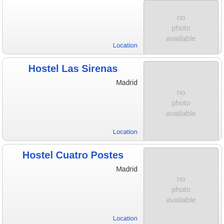[Figure (screenshot): Partial listing card at top of page showing 'Location' link and a 'no photo available' placeholder image]
Hostel Las Sirenas
Madrid
Location
[Figure (photo): No photo available placeholder]
Hostel Cuatro Postes
Madrid
Location
[Figure (photo): No photo available placeholder]